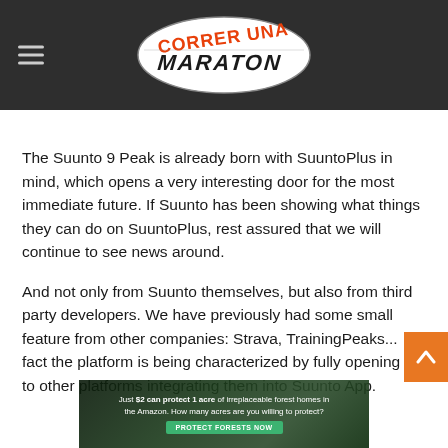CORRER UNA MARATON (logo)
The Suunto 9 Peak is already born with SuuntoPlus in mind, which opens a very interesting door for the most immediate future. If Suunto has been showing what things they can do on SuuntoPlus, rest assured that we will continue to see news around.
And not only from Suunto themselves, but also from third party developers. We have previously had some small feature from other companies: Strava, TrainingPeaks... fact the platform is being characterized by fully opening up to other platforms integrating them into Suunto App.
[Figure (photo): Advertisement banner: forest background with text 'Just $2 can protect 1 acre of irreplaceable forest homes in the Amazon. How many acres are you willing to protect?' and a green 'PROTECT FORESTS NOW' button.]